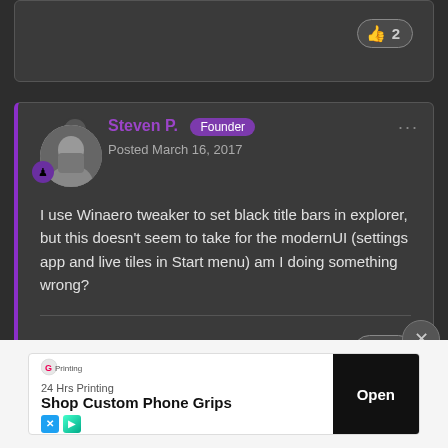[Figure (screenshot): Top card stub with a thumbs up like button showing count of 2]
Steven P.  Founder
Posted March 16, 2017

I use Winaero tweaker to set black title bars in explorer, but this doesn't seem to take for the modernUI (settings app and live tiles in Start menu) am I doing something wrong?
[Figure (screenshot): Thumbs up like button with count 2 at bottom of post]
[Figure (screenshot): Close/X circular button]
[Figure (screenshot): Advertisement banner: 24 Hrs Printing - Shop Custom Phone Grips - Open button]